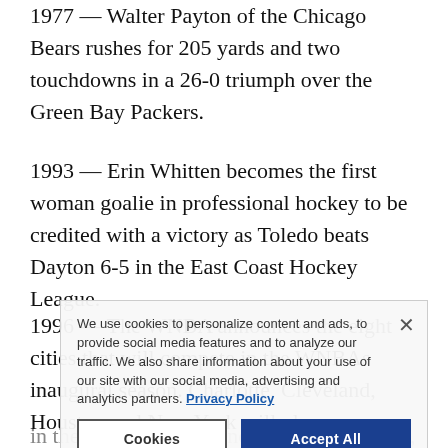1977 — Walter Payton of the Chicago Bears rushes for 205 yards and two touchdowns in a 26-0 triumph over the Green Bay Packers.
1993 — Erin Whitten becomes the first woman goalie in professional hockey to be credited with a victory as Toledo beats Dayton 6-5 in the East Coast Hockey League.
1996 — The WNBA announces the eight cities that will compete in the WNBAs inaugural season. Charlotte, Cleveland, Houston and New York will play in the Eastern Conference and Los Angeles, Phoenix, Sacramento and Utah will compete the Western Conference.
1997 — Violet Palmer makes professional sports history by becoming the first woman to officiate an NBA game. There is little reaction by the crowd when her name is announced just before tip-off of the game between the Dallas Mavericks and Vancouver...
We use cookies to personalize content and ads, to provide social media features and to analyze our traffic. We also share information about your use of our site with our social media, advertising and analytics partners. Privacy Policy